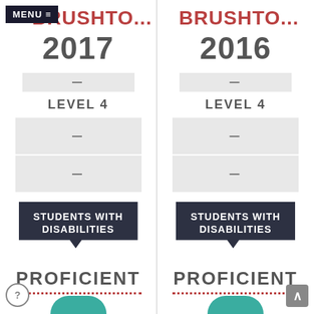MENU ≡
BRUSHTO... 2017
—
LEVEL 4
— —
STUDENTS WITH DISABILITIES
PROFICIENT
BRUSHTO... 2016
—
LEVEL 4
— —
STUDENTS WITH DISABILITIES
PROFICIENT